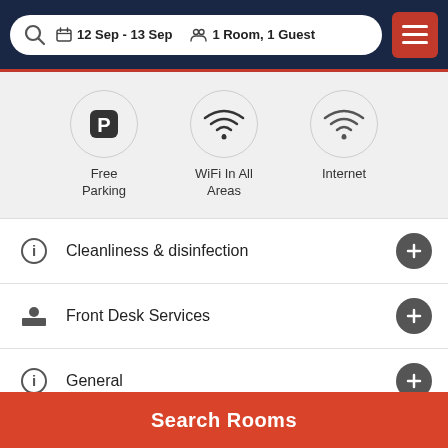12 Sep - 13 Sep | 1 Room, 1 Guest
[Figure (infographic): Three amenity icons in circles: Free Parking (P icon), WiFi In All Areas (wifi icon), Internet (wifi icon)]
Cleanliness & disinfection
Front Desk Services
General
Miscellaneous
Search Rooms